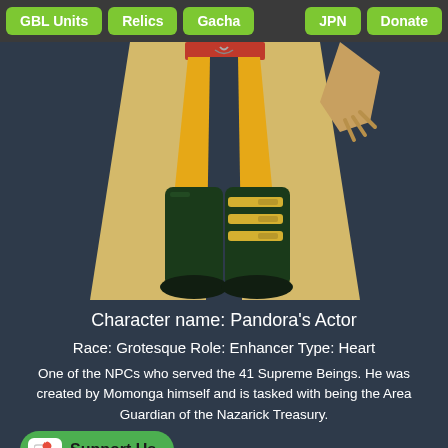GBL Units | Relics | Gacha | JPN | Donate
[Figure (illustration): Lower body of anime character Pandora's Actor: yellow pants, long beige coat, dark green boots with yellow buckle straps]
Character name: Pandora’s Actor
Race: Grotesque Role: Enhancer Type: Heart
One of the NPCs who served the 41 Supreme Beings. He was created by Momonga himself and is tasked with being the Area Guardian of the Nazarick Treasury.
[Figure (logo): Support Us button with Ko-fi cup and heart icon]
g in charge of the items in the Treasury, he is also responsible for financial matters such